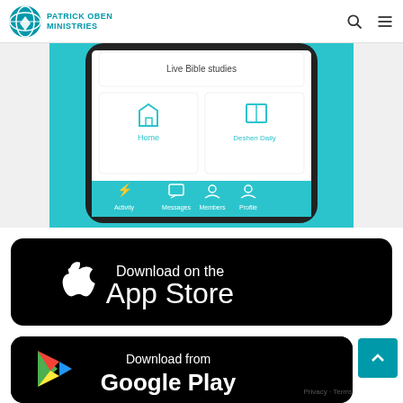Patrick Oben Ministries
[Figure (screenshot): Mobile app screenshot showing Home and Deshen Daily menu tiles on teal background with Live Bible studies item, and bottom navigation bar with Activity, Messages, Members, Profile icons]
[Figure (screenshot): Download on the App Store button - black rounded rectangle with Apple logo and text 'Download on the App Store']
[Figure (screenshot): Download from Google Play button - black rounded rectangle with Google Play logo and text 'Download from Google Play']